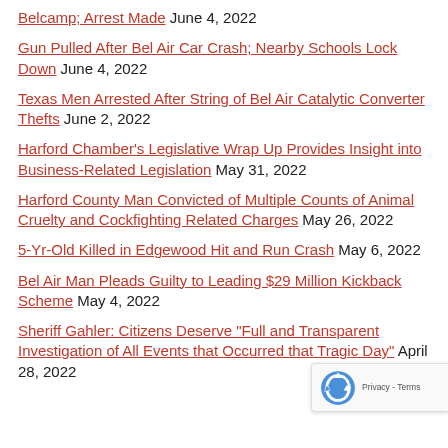Belcamp; Arrest Made June 4, 2022
Gun Pulled After Bel Air Car Crash; Nearby Schools Lock Down June 4, 2022
Texas Men Arrested After String of Bel Air Catalytic Converter Thefts June 2, 2022
Harford Chamber's Legislative Wrap Up Provides Insight into Business-Related Legislation May 31, 2022
Harford County Man Convicted of Multiple Counts of Animal Cruelty and Cockfighting Related Charges May 26, 2022
5-Yr-Old Killed in Edgewood Hit and Run Crash May 6, 2022
Bel Air Man Pleads Guilty to Leading $29 Million Kickback Scheme May 4, 2022
Sheriff Gahler: Citizens Deserve "Full and Transparent Investigation of All Events that Occurred that Tragic Day" April 28, 2022